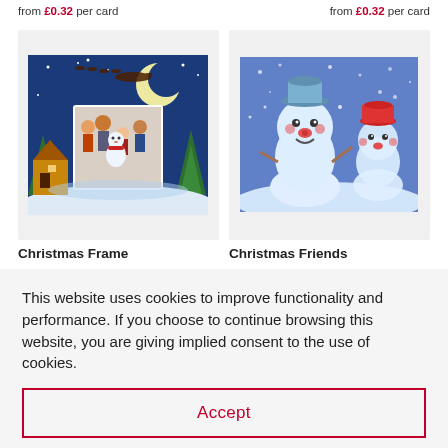from £0.32 per card  from £0.32 per card
[Figure (illustration): Christmas card product image: winter scene with family, snowman, and Santa's sleigh flying over the moon against a blue night sky]
[Figure (illustration): Christmas card product image: two cute cartoon snowmen wearing Santa hats peeking up from snowy ground against blue background]
Christmas Frame
Christmas Friends
This website uses cookies to improve functionality and performance. If you choose to continue browsing this website, you are giving implied consent to the use of cookies.
Accept